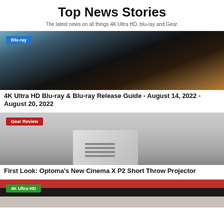Top News Stories
The latest news on all things 4K Ultra HD, blu-ray and Gear.
[Figure (photo): A dinosaur (T-Rex) image from a Blu-ray release, with a blue 'Blu-ray' badge overlay in the top left corner.]
4K Ultra HD Blu-ray & Blu-ray Release Guide - August 14, 2022 - August 20, 2022
[Figure (photo): A silver/white short throw projector on a grey gradient background, with a red 'Gear Review' badge overlay in the top left corner.]
First Look: Optoma's New Cinema X P2 Short Throw Projector
[Figure (photo): A person wearing a red outfit, partially visible at the bottom of the page, with a green '4K Ultra HD' badge overlay in the top left corner.]